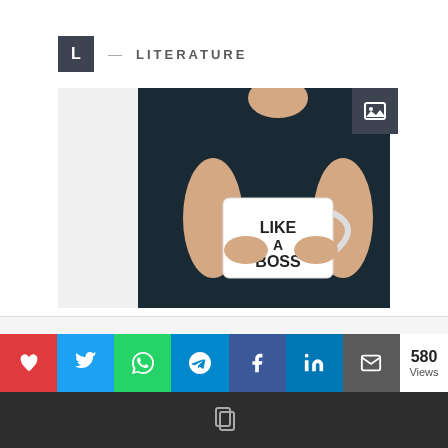L — LITERATURE
[Figure (photo): Person in dark sweater holding a white mug that reads 'LIKE A BOSS']
Privacy & Cookies: This site uses cookies. By continuing to use this website, you agree to their use. To find out more, including privacy and
[Figure (screenshot): Social share bar with heart, Twitter, WhatsApp, Telegram, Facebook, LinkedIn, and email buttons. Also shows 580 Views counter and a dark footer bar.]